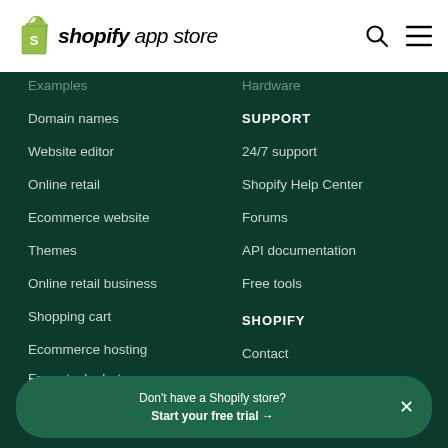shopify app store
Examples
Domain names
Website editor
Online retail
Ecommerce website
Themes
Online retail business
Shopping cart
Ecommerce hosting
Mobile commerce
Online store builder
Free stock photos
Hardware
SUPPORT
24/7 support
Shopify Help Center
Forums
API documentation
Free tools
SHOPIFY
Contact
Don't have a Shopify store? Start your free trial →